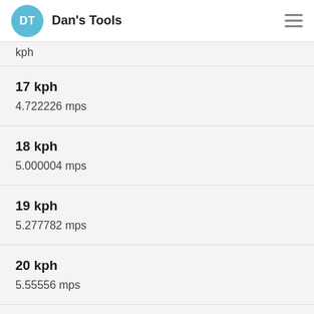Dan's Tools
17 kph
4.722226 mps
18 kph
5.000004 mps
19 kph
5.277782 mps
20 kph
5.55556 mps